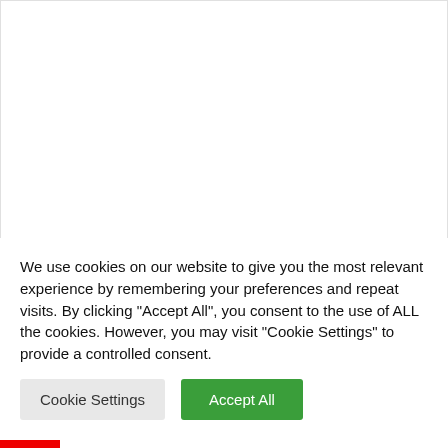[Figure (other): White advertisement placeholder area]
Advertisements
According to a statement released by the Indian central bank, Non-Resident Indians and Overseas
We use cookies on our website to give you the most relevant experience by remembering your preferences and repeat visits. By clicking "Accept All", you consent to the use of ALL the cookies. However, you may visit "Cookie Settings" to provide a controlled consent.